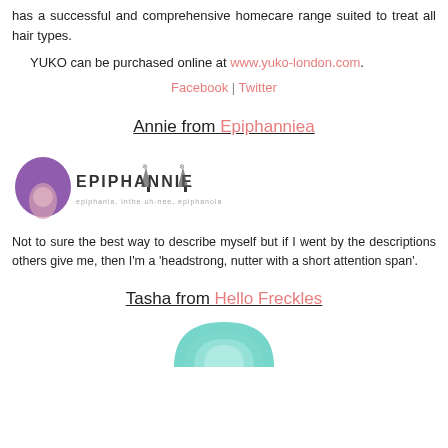has a successful and comprehensive homecare range suited to treat all hair types.
YUKO can be purchased online at www.yuko-london.com.
Facebook | Twitter
Annie from Epiphanniea
[Figure (logo): Epiphanniea logo with purple afro woman and stylized text with Christmas trees]
Not to sure the best way to describe myself but if I went by the descriptions others give me, then I'm a 'headstrong, nutter with a short attention span'.
Tasha from Hello Freckles
[Figure (logo): Hello Freckles logo partial - teal/mint fan shape at bottom]